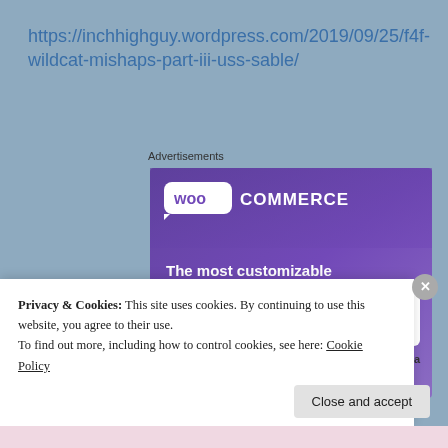https://inchhighguy.wordpress.com/2019/09/25/f4f-wildcat-mishaps-part-iii-uss-sable/
Advertisements
[Figure (screenshot): WooCommerce advertisement banner with purple gradient background showing WooCommerce logo, tagline 'The most customizable eCommerce platform', a 'Start a new store' button, and device mockups on the right side.]
Privacy & Cookies: This site uses cookies. By continuing to use this website, you agree to their use.
To find out more, including how to control cookies, see here: Cookie Policy
Close and accept